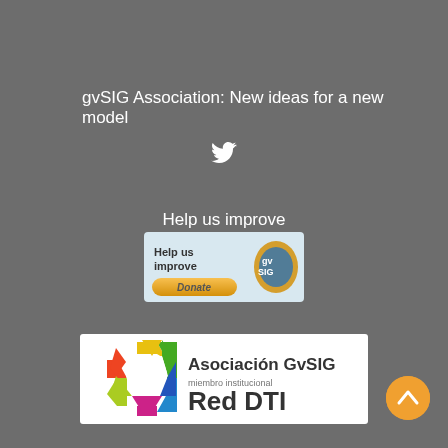gvSIG Association: New ideas for a new model
[Figure (logo): Twitter bird icon]
Help us improve
[Figure (illustration): Help us improve Donate banner with gvSIG logo]
[Figure (logo): Asociación GvSIG miembro institucional Red DTI logo with colorful hexagon]
[Figure (other): Orange circular scroll-to-top button with upward chevron]